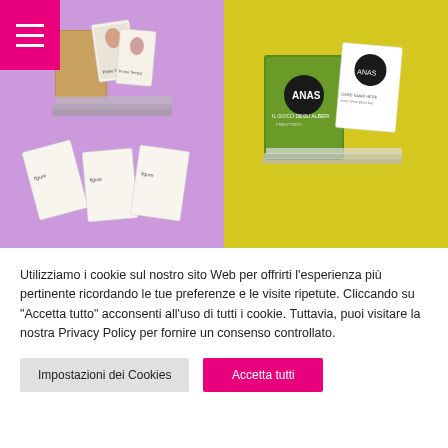[Figure (photo): Navigation menu icon (hamburger) on pink/magenta background, top-left corner]
[Figure (photo): Two product shots side by side: left side purple background with playing card/tarot card set spread out; right side yellow background with green boxed card game set]
Utilizziamo i cookie sul nostro sito Web per offrirti l'esperienza più pertinente ricordando le tue preferenze e le visite ripetute. Cliccando su "Accetta tutto" acconsenti all'uso di tutti i cookie. Tuttavia, puoi visitare la nostra Privacy Policy per fornire un consenso controllato.
Impostazioni dei Cookies
Accetta tutti